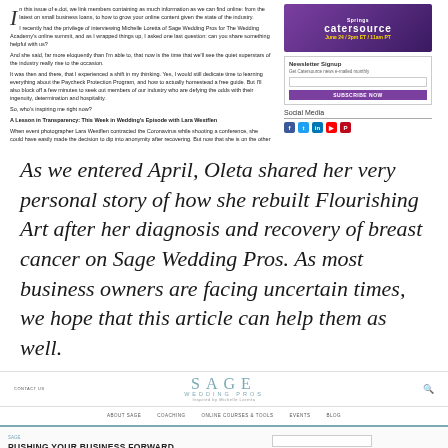In this issue of e.dot, we link members containing as much information as we can find online: from the latest on small business loans, to how to grow your online content given the state of the industry. I recently had the privilege of interviewing Michelle Loretta of Sage Wedding Pros for The Wedding Academy's online summit, and as I wrapped things up, I asked one last question: can you share something helpful with us? And she said, far more eloquently than I'm able to, that now is the time that we'll see the quiet superstars of the industry really rise to the occasion. It was then and there, that I experienced a shift in my thinking. Yes, I would still dedicate time to learning everything about the Paycheck Protection Program, and how to actually homestead a free guide. But I'll also block off a few minutes to seek out members of our industry who are defying the odds with their ingenuity, determination and hospitality. So, who's inspiring me right now? A Lesson in Transparency: This Week in Wedding's Episode with Lara Westflen When event photographer Lara Westflen contracted the Coronavirus while shooting a conference, she could have easily made the decision to dip into anonymity after recovering. But now that she is on the other side of it, she is determined to share her story, in hopes that others can understand how serious this is. This Week in Weddings was here to assist, and dedicated an entire episode to sharing.
[Figure (screenshot): Catersource advertisement - purple background with white text showing 'Springs catersource' and event date June 24 / 2pm ET / 11am PT]
[Figure (screenshot): Newsletter Signup box with purple Subscribe Now button]
Social Media
As we entered April, Oleta shared her very personal story of how she rebuilt Flourishing Art after her diagnosis and recovery of breast cancer on Sage Wedding Pros. As most business owners are facing uncertain times, we hope that this article can help them as well.
[Figure (screenshot): Sage Wedding Pros website screenshot showing the blog post 'PUSHING YOUR BUSINESS FORWARD AFTER A SETBACK' with navigation header, article preview, and sidebar with Like What You Read and Explore Our Blog sections]